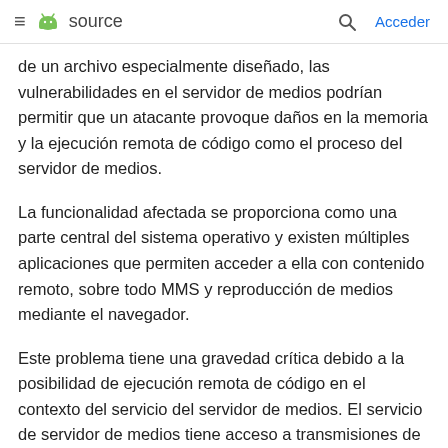≡ [android logo] source   [search icon]   Acceder
de un archivo especialmente diseñado, las vulnerabilidades en el servidor de medios podrían permitir que un atacante provoque daños en la memoria y la ejecución remota de código como el proceso del servidor de medios.
La funcionalidad afectada se proporciona como una parte central del sistema operativo y existen múltiples aplicaciones que permiten acceder a ella con contenido remoto, sobre todo MMS y reproducción de medios mediante el navegador.
Este problema tiene una gravedad crítica debido a la posibilidad de ejecución remota de código en el contexto del servicio del servidor de medios. El servicio de servidor de medios tiene acceso a transmisiones de audio y video, así como acceso a privilegios a los que las aplicaciones de terceros normalmente no pueden acceder.